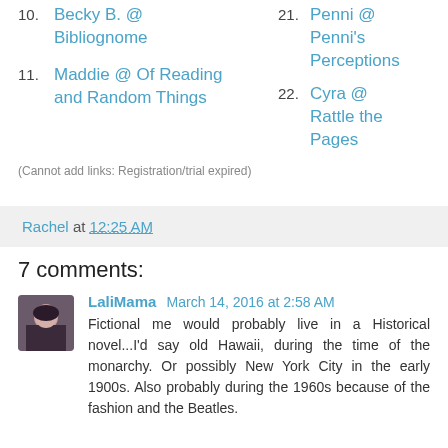10. Becky B. @ Bibliognome
11. Maddie @ Of Reading and Random Things
21. Penni @ Penni's Perceptions
22. Cyra @ Rattle the Pages
(Cannot add links: Registration/trial expired)
Rachel at 12:25 AM
7 comments:
LaliMama March 14, 2016 at 2:58 AM
Fictional me would probably live in a Historical novel...I'd say old Hawaii, during the time of the monarchy. Or possibly New York City in the early 1900s. Also probably during the 1960s because of the fashion and the Beatles.